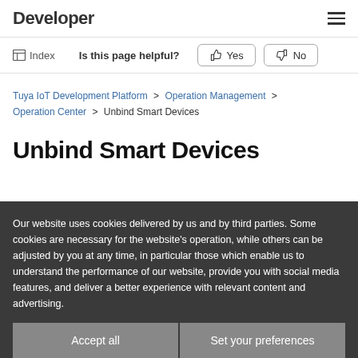Developer
Index  Is this page helpful?  Yes  No
Tuya IoT Development Platform > Operation Management > Operation Center > Unbind Smart Devices
Unbind Smart Devices
Our website uses cookies delivered by us and by third parties. Some cookies are necessary for the website's operation, while others can be adjusted by you at any time, in particular those which enable us to understand the performance of our website, provide you with social media features, and deliver a better experience with relevant content and advertising.
Accept all  Set your preferences